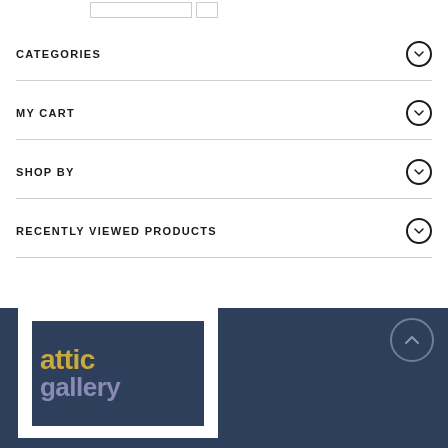CATEGORIES
MY CART
SHOP BY
RECENTLY VIEWED PRODUCTS
[Figure (logo): Attic Gallery logo — navy blue background with 'attic' in gold/yellow and 'gallery' in muted purple/lavender, white border]